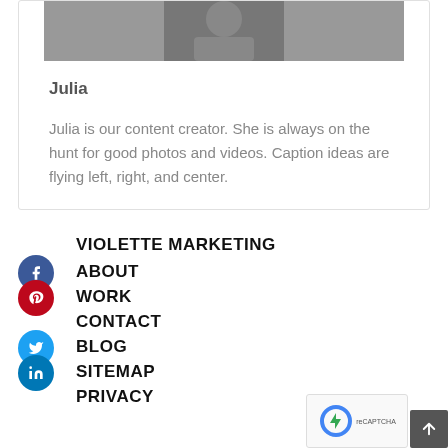[Figure (photo): Black and white photo of a person, cropped to show upper body/face area]
Julia
Julia is our content creator. She is always on the hunt for good photos and videos. Caption ideas are flying left, right, and center.
VIOLETTE MARKETING
ABOUT
WORK
CONTACT
BLOG
SITEMAP
PRIVACY